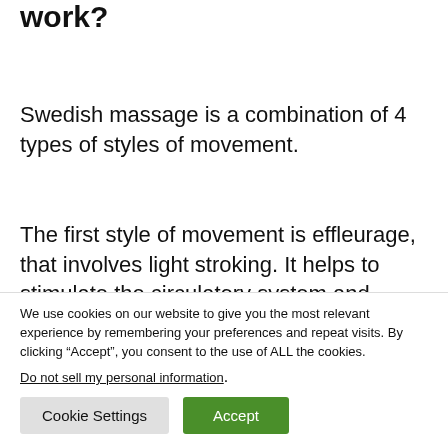work?
Swedish massage is a combination of 4 types of styles of movement.
The first style of movement is effleurage, that involves light stroking. It helps to stimulate the circulatory system and improves the blood flow.
We use cookies on our website to give you the most relevant experience by remembering your preferences and repeat visits. By clicking “Accept”, you consent to the use of ALL the cookies.
Do not sell my personal information.